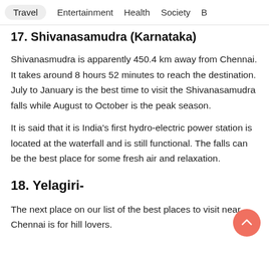Travel  Entertainment  Health  Society  B
17. Shivanasamudra (Karnataka)
Shivanasmudra is apparently 450.4 km away from Chennai. It takes around 8 hours 52 minutes to reach the destination. July to January is the best time to visit the Shivanasamudra falls while August to October is the peak season.
It is said that it is India's first hydro-electric power station is located at the waterfall and is still functional. The falls can be the best place for some fresh air and relaxation.
18. Yelagiri-
The next place on our list of the best places to visit near Chennai is for hill lovers.